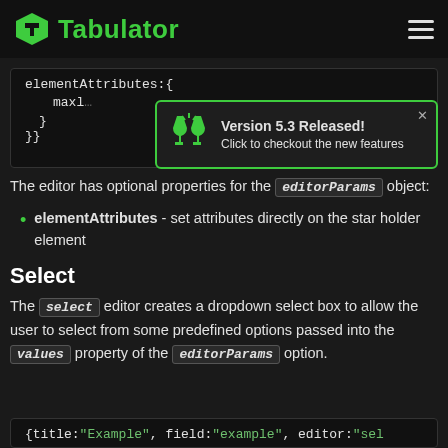Tabulator
[Figure (screenshot): Code block showing elementAttributes:{ maxle... } }}]
[Figure (infographic): Version 5.3 Released! notification popup with green wine glasses icon. Click to checkout the new features]
The editor has optional properties for the editorParams object:
elementAttributes - set attributes directly on the star holder element
Select
The select editor creates a dropdown select box to allow the user to select from some predefined options passed into the values property of the editorParams option.
[Figure (screenshot): Code block showing {title:"Example", field:"example", editor:"sel]